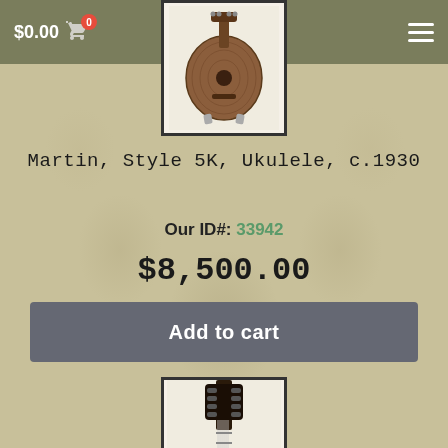$0.00 [cart icon with badge: 0] [menu icon]
[Figure (photo): Photo of a Martin Style 5K Ukulele c.1930, showing the body from above with koa wood finish]
Martin, Style 5K, Ukulele, c.1930
Our ID#: 33942
$8,500.00
Add to cart
[Figure (photo): Photo of a mandolin or similar instrument showing headstock with tuning pegs]